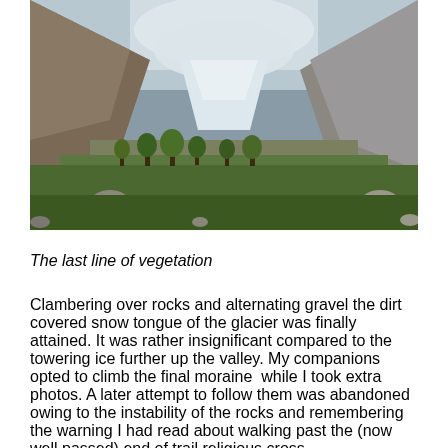[Figure (photo): A mountain valley landscape showing a glacier tongue in the background, with rocky terrain in the foreground, green shrubs and vegetation in the middle ground, and snow-capped peaks and cloudy sky in the distance.]
The last line of vegetation
Clambering over rocks and alternating gravel the dirt covered snow tongue of the glacier was finally attained. It was rather insignificant compared to the towering ice further up the valley. My companions opted to climb the final moraine  while I took extra photos. A later attempt to follow them was abandoned owing to the instability of the rocks and remembering the warning I had read about walking past the (now well passed) end of trail religious cross.